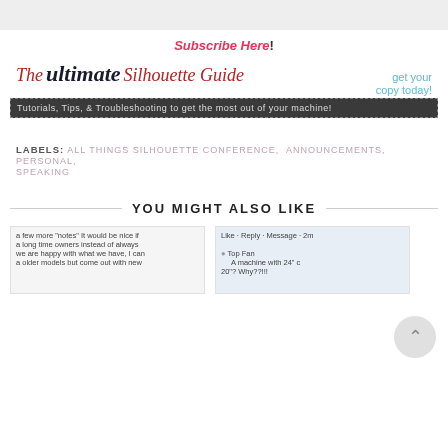[Figure (screenshot): Gray top bar area]
Subscribe Here!
[Figure (illustration): The Ultimate Silhouette Guide banner — red and italic serif text 'The', cursive bold 'ultimate', red italic serif 'Silhouette Guide', teal 'get your copy today!', dark bar with dashed border reading 'Tutorials, Tips, & Troubleshooting to get the most out of your machine!']
LABELS:  ALL THINGS SILHOUETTE CONFERENCE,  ANNOUNCEMENTS,  PERSONAL,  SPEAKING
YOU MIGHT ALSO LIKE
[Figure (screenshot): Thumbnail of a comment/text snippet: 'a few more "notes" It would be nice if a long time owners instead of always we are happy with what we have, I can a older models but come out with new']
[Figure (screenshot): Thumbnail of a social media comment: 'Like · Reply · Message · 2m, Top Fan, A machine with 24" c, 20"? Why??!!!']